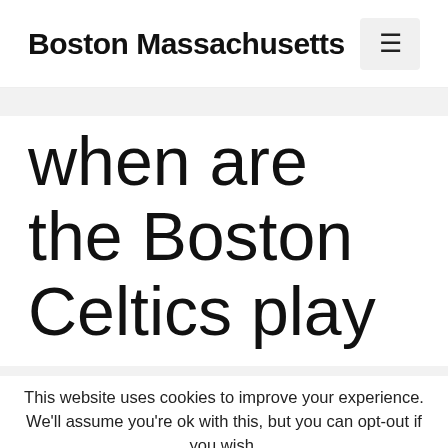Boston Massachusetts
when are the Boston Celtics play
This website uses cookies to improve your experience. We'll assume you're ok with this, but you can opt-out if you wish.